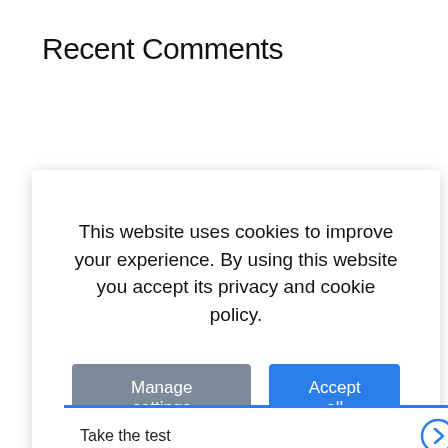Recent Comments
This website uses cookies to improve your experience. By using this website you accept its privacy and cookie policy.
Manage settings
Accept all
Take the test